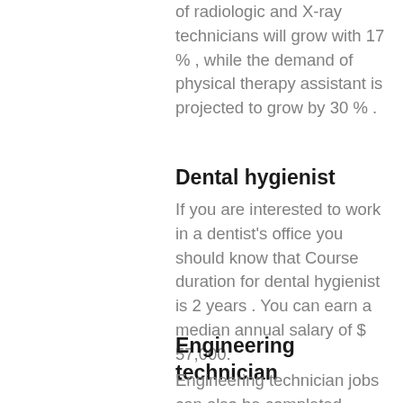of radiologic and X-ray technicians will grow with 17 % , while the demand of physical therapy assistant is projected to grow by 30 % .
Dental hygienist
If you are interested to work in a dentist's office you should know that Course duration for dental hygienist is 2 years . You can earn a median annual salary of $ 57,000.
Engineering technician
Engineering technician jobs can also be completed within two